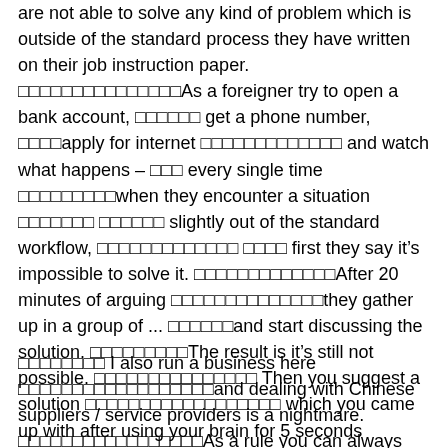are not able to solve any kind of problem which is outside of the standard process they have written on their job instruction paper. □□□□□□□□□□□□□□□As a foreigner try to open a bank account, □□□□□□ get a phone number, □□□□apply for internet □□□□□□□□□□□□□ and watch what happens – □□□ every single time □□□□□□□□□when they encounter a situation □□□□□□□ □□□□□□ slightly out of the standard workflow, □□□□□□□□□□□□□ □□□□ first they say it’s impossible to solve it. □□□□□□□□□□□□□After 20 minutes of arguing □□□□□□□□□□□□□□they gather up in a group of ... □□□□□□and start discussing the solution. □□□□□□□□□The result is it’s still not possible. □□□□□□□□□□□□□□□ Then you suggest a solution □□□□□□□□□□□□□□□□□□ which you came up with after using your brain for 5 seconds □□□□□□□□□□□ and magically □□□□□□□□ it’s now possible □□□□□□□□□ to arrange your request.
□□□□□□□□ I also run a business here □□□□□□□□□□□□□□□□□□and dealing with Chinese suppliers / service providers is a nightmare. □□□□□□□□□□□□□□□□□As a rule you can always expect